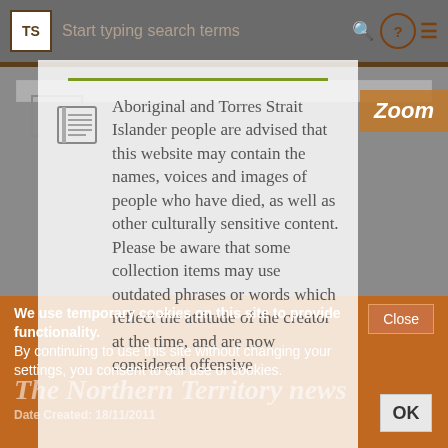Start typing search terms
[Figure (screenshot): Website screenshot showing a search interface with TS logo, search bar with placeholder text 'Start typing search terms', and icons for search, help, and menu on a grey background]
Aboriginal and Torres Strait Islander people are advised that this website may contain the names, voices and images of people who have died, as well as other culturally sensitive content. Please be aware that some collection items may use outdated phrases or words which reflect the attitude of the creator at the time, and are now considered offensive
We use temporary cookies on this site to provide functionality.
By continuing to use this site without changing your settings, you consent to our use of cookies.
The Northern Territory news
Date Created: 18/11/2011